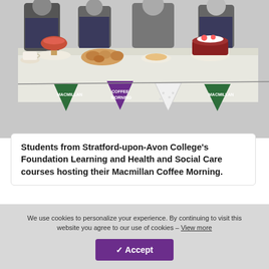[Figure (photo): Photo of students at a table with baked goods and Macmillan Coffee Morning bunting decorations including green and purple triangular banners.]
Students from Stratford-upon-Avon College's Foundation Learning and Health and Social Care courses hosting their Macmillan Coffee Morning.
Foundation lecturer Teena Appleby explained "The Health and Social Care students have been introduced to different aspects of learning disabilities. They were allocated specific Foundation students to work with which has been really beneficial for their
We use cookies to personalize your experience. By continuing to visit this website you agree to our use of cookies – View more